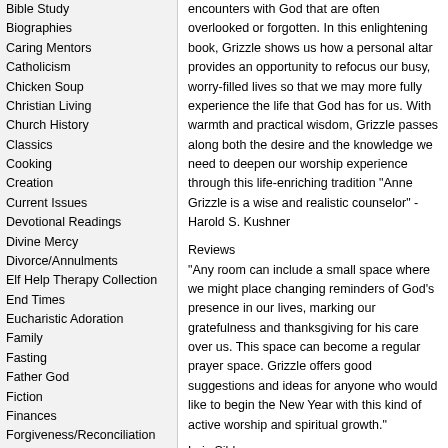Bible Study
Biographies
Caring Mentors
Catholicism
Chicken Soup
Christian Living
Church History
Classics
Cooking
Creation
Current Issues
Devotional Readings
Divine Mercy
Divorce/Annulments
Elf Help Therapy Collection
End Times
Eucharistic Adoration
Family
Fasting
Father God
Fiction
Finances
Forgiveness/Reconciliation
Fun Facts
Gift Books
Healing & Coping
Healthy Living
Heaven
Hell
Humor
Inspirational
Encounters
Encouragement
Howard Books
Hugs Series
Professional Development
Saintly Wisdom
The Journey
Islam
Jesus
Joseph
encounters with God that are often overlooked or forgotten. In this enlightening book, Grizzle shows us how a personal altar provides an opportunity to refocus our busy, worry-filled lives so that we may more fully experience the life that God has for us. With warmth and practical wisdom, Grizzle passes along both the desire and the knowledge we need to deepen our worship experience through this life-enriching tradition "Anne Grizzle is a wise and realistic counselor" -Harold S. Kushner
Reviews
"Any room can include a small space where we might place changing reminders of God's presence in our lives, marking our gratefulness and thanksgiving for his care over us. This space can become a regular prayer space. Grizzle offers good suggestions and ideas for anyone who would like to begin the New Year with this kind of active worship and spiritual growth."
Lois Sibley
Episcopal Life
January 24, 2005
Author: Anne F. Grizzle
Binding: Paper Back
Pages: 180